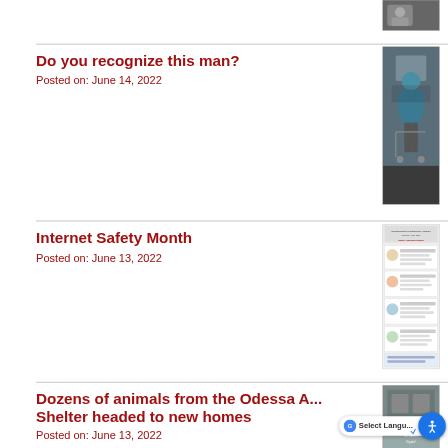[Figure (photo): Partial thumbnail of a previous news item at top of page]
Do you recognize this man?
Posted on: June 14, 2022
[Figure (photo): Security camera image of a man in a blue shirt pushing a cart in a store]
Internet Safety Month
Posted on: June 13, 2022
[Figure (infographic): Infographic about Internet Safety Month with illustrated figures and text]
Dozens of animals from the Odessa A... Shelter headed to new homes
Posted on: June 13, 2022
[Figure (photo): Partial thumbnail of animals/shelter news item]